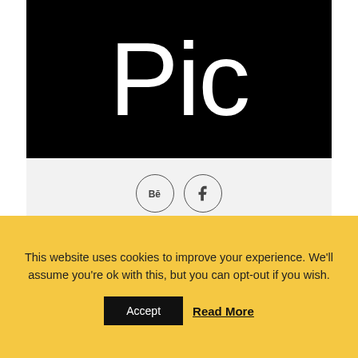[Figure (photo): Black background with large white text 'Pic' representing a profile picture placeholder]
[Figure (other): Social media icons: Behance and Facebook, inside circles on a light grey bar]
Max Mac Man
CTO
Lorem ipsum dolor sit amet, consectetuer adipiscing elit. Aenean commodo ligula eget dolor. Aenean massa. Cum sociis natoque...
This website uses cookies to improve your experience. We'll assume you're ok with this, but you can opt-out if you wish. Accept Read More